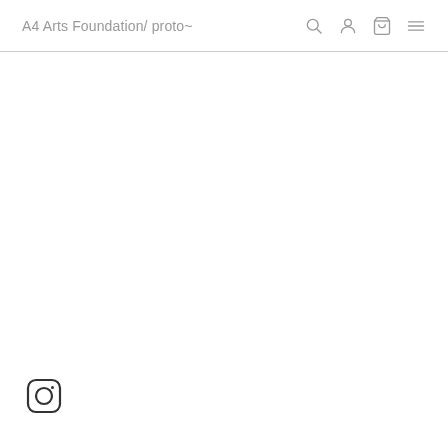A4 Arts Foundation/ proto~
[Figure (logo): Instagram icon — rounded square with circle and dot, bottom-left corner]